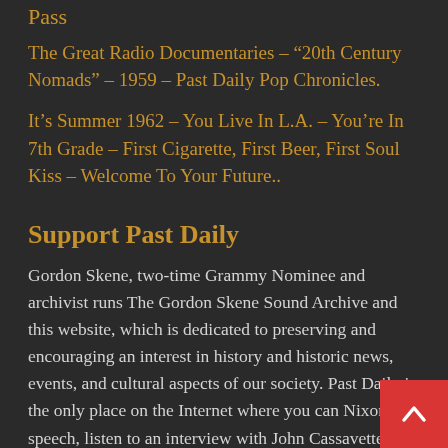Pass
The Great Radio Documentaries – “20th Century Nomads” – 1959 – Past Daily Pop Chronicles.
It’s Summer 1962 – You Live In L.A. – You’re In 7th Grade – First Cigarette, First Beer, First Soul Kiss – Welcome To Your Future..
Support Past Daily
Gordon Skene, two-time Grammy Nominee and archivist runs The Gordon Skene Sound Archive and this website, which is dedicated to preserving and encouraging an interest in history and historic news, events, and cultural aspects of our society. Past Daily is the only place on the Internet where you can Nixon speech, listen to an interview with John Cassavettes or play a broadcast of Charles Munch